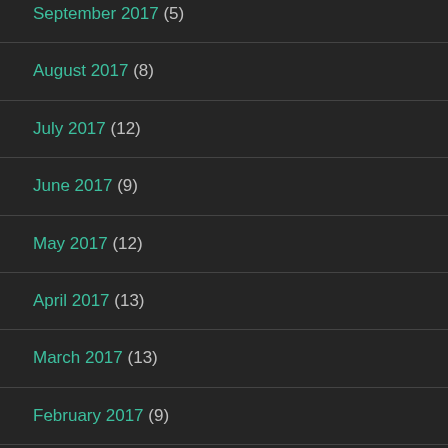September 2017 (5)
August 2017 (8)
July 2017 (12)
June 2017 (9)
May 2017 (12)
April 2017 (13)
March 2017 (13)
February 2017 (9)
January 2017 (14)